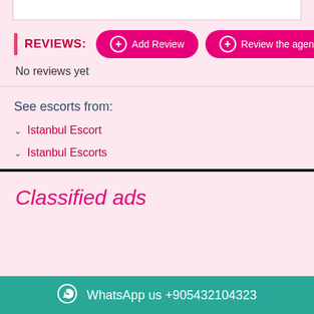REVIEWS:
No reviews yet
See escorts from:
Istanbul Escort
Istanbul Escorts
Classified ads
WhatsApp us +905432104323